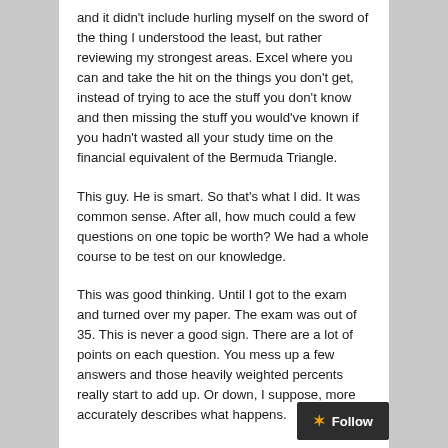and it didn't include hurling myself on the sword of the thing I understood the least, but rather reviewing my strongest areas. Excel where you can and take the hit on the things you don't get, instead of trying to ace the stuff you don't know and then missing the stuff you would've known if you hadn't wasted all your study time on the financial equivalent of the Bermuda Triangle.
This guy. He is smart. So that's what I did. It was common sense. After all, how much could a few questions on one topic be worth? We had a whole course to be test on our knowledge.
This was good thinking. Until I got to the exam and turned over my paper. The exam was out of 35. This is never a good sign. There are a lot of points on each question. You mess up a few answers and those heavily weighted percents really start to add up. Or down, I suppose, more accurately describes what happens.
Like any good student, I flipped through so as to see t